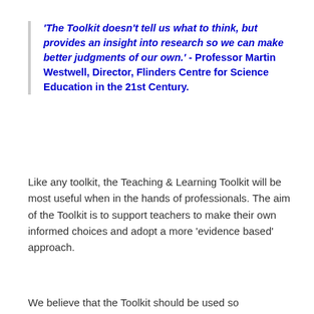'The Toolkit doesn't tell us what to think, but provides an insight into research so we can make better judgments of our own.' - Professor Martin Westwell, Director, Flinders Centre for Science Education in the 21st Century.
Like any toolkit, the Teaching & Learning Toolkit will be most useful when in the hands of professionals. The aim of the Toolkit is to support teachers to make their own informed choices and adopt a more 'evidence based' approach.
We believe that the Toolkit should be used so